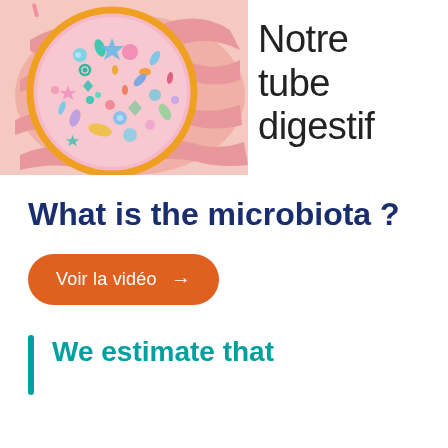[Figure (illustration): Medical illustration showing a cross-section of a human digestive tract with a circular magnified view showing colorful microbiota/bacteria organisms in pink, blue, teal, and orange colors against a pink background of intestinal tissue]
Notre tube digestif
What is the microbiota ?
Voir la vidéo →
We estimate that